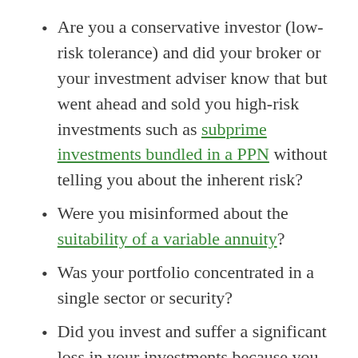Are you a conservative investor (low-risk tolerance) and did your broker or your investment adviser know that but went ahead and sold you high-risk investments such as subprime investments bundled in a PPN without telling you about the inherent risk?
Were you misinformed about the suitability of a variable annuity?
Was your portfolio concentrated in a single sector or security?
Did you invest and suffer a significant loss in your investments because you were told it was a safe, “cash equivalent” investment?